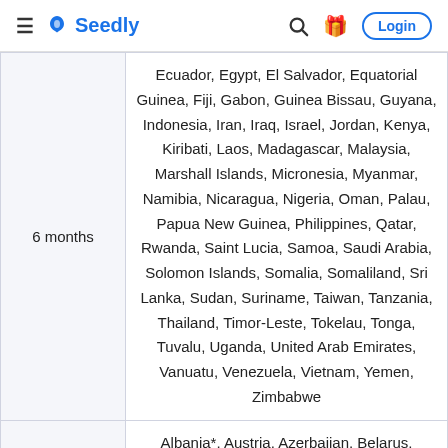Seedly - Login
| Duration | Countries |
| --- | --- |
| 6 months | Ecuador, Egypt, El Salvador, Equatorial Guinea, Fiji, Gabon, Guinea Bissau, Guyana, Indonesia, Iran, Iraq, Israel, Jordan, Kenya, Kiribati, Laos, Madagascar, Malaysia, Marshall Islands, Micronesia, Myanmar, Namibia, Nicaragua, Nigeria, Oman, Palau, Papua New Guinea, Philippines, Qatar, Rwanda, Saint Lucia, Samoa, Saudi Arabia, Solomon Islands, Somalia, Somaliland, Sri Lanka, Sudan, Suriname, Taiwan, Tanzania, Thailand, Timor-Leste, Tokelau, Tonga, Tuvalu, Uganda, United Arab Emirates, Vanuatu, Venezuela, Vietnam, Yemen, Zimbabwe |
|  | Albania*, Austria, Azerbaijan, Belarus, Belgium, Bosnia and Herzegovina, |